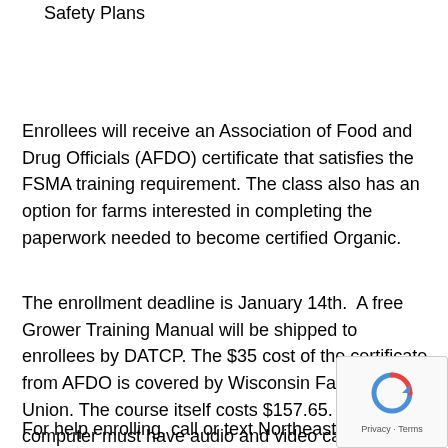Safety Plans
Enrollees will receive an Association of Food and Drug Officials (AFDO) certificate that satisfies the FSMA training requirement. The class also has an option for farms interested in completing the paperwork needed to become certified Organic.
The enrollment deadline is January 14th. A free Grower Training Manual will be shipped to enrollees by DATCP. The $35 cost of the certificate from AFDO is covered by Wisconsin Farmers Union. The course itself costs $157.65. Your computer must have audio and video capability and you must be present at each weekly session to earn the certification.
For help enrolling, call or text Northeast Wisconsin Technical